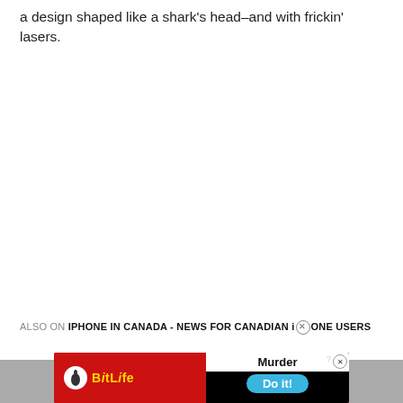a design shaped like a shark's head–and with frickin' lasers.
ALSO ON IPHONE IN CANADA - NEWS FOR CANADIAN iPHONE USERS
[Figure (screenshot): BitLife advertisement banner with red background, sperm logo, 'BitLife' text in yellow, and on the right side a dark background with 'Murder' text and a 'Do it!' blue button. Question mark and X close button visible in top right.]